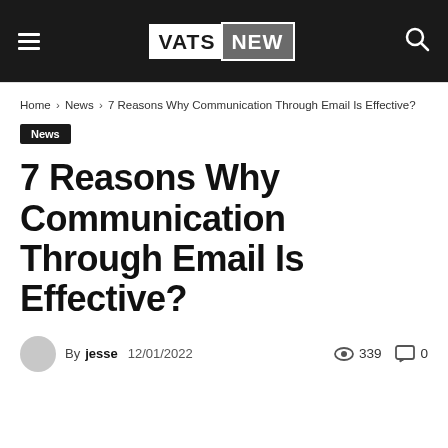VATSNEW
Home › News › 7 Reasons Why Communication Through Email Is Effective?
News
7 Reasons Why Communication Through Email Is Effective?
By jesse  12/01/2022  339  0